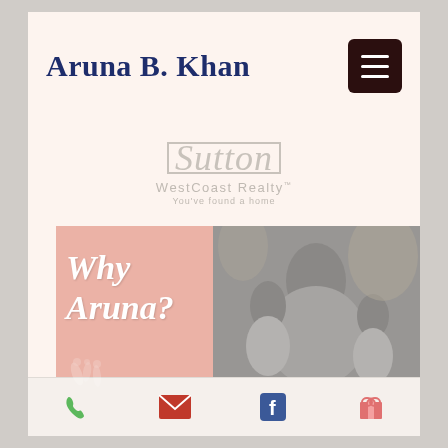Aruna B. Khan
[Figure (logo): Sutton WestCoast Realty logo with script Sutton text in box, tagline 'You've found a home']
[Figure (photo): Split image: left half salmon/pink background with cursive 'Why Aruna?' text and floral illustration; right half black and white photo of a woman with three children]
Phone | Email | Facebook | Gift icons